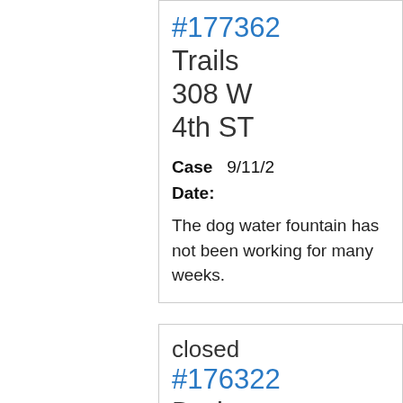#177362 Trails 308 W 4th ST
Case Date: 9/11/2
The dog water fountain has not been working for many weeks.
closed
#176322
Drainage or Runoff